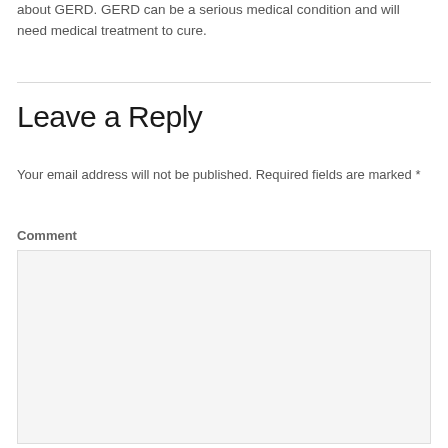about GERD. GERD can be a serious medical condition and will need medical treatment to cure.
Leave a Reply
Your email address will not be published. Required fields are marked *
Comment